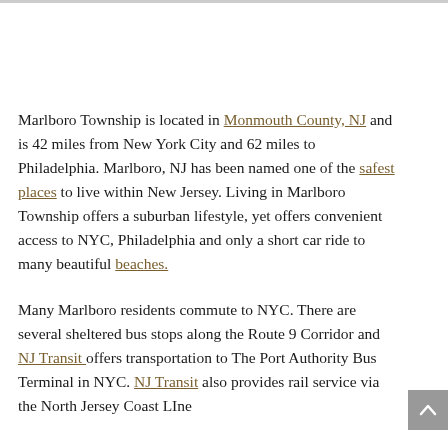Marlboro Township is located in Monmouth County, NJ and is 42 miles from New York City and 62 miles to Philadelphia. Marlboro, NJ has been named one of the safest places to live within New Jersey. Living in Marlboro Township offers a suburban lifestyle, yet offers convenient access to NYC, Philadelphia and only a short car ride to many beautiful beaches.
Many Marlboro residents commute to NYC. There are several sheltered bus stops along the Route 9 Corridor and NJ Transit offers transportation to The Port Authority Bus Terminal in NYC. NJ Transit also provides rail service via the North Jersey Coast LIne